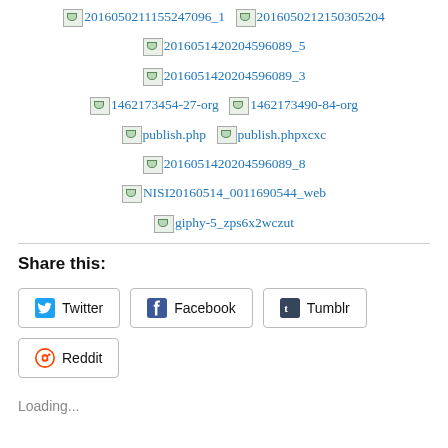[Figure (other): A collection of broken image link icons displayed as blue hyperlinked filenames: 2016050211155247096_1, 2016050212150305204, 2016051420204596089_5, 2016051420204596089_3, 1462173454-27-org, 1462173490-84-org, publish.php, publish.phpxcxc, 2016051420204596089_8, NISI20160514_0011690544_web, giphy-5_zps6x2wczut]
Share this:
Twitter  Facebook  Tumblr  Reddit
Loading...